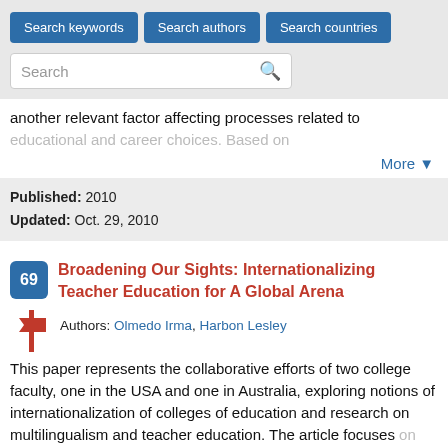[Figure (screenshot): Search interface with three blue buttons: 'Search keywords', 'Search authors', 'Search countries', and a search input box with a magnifying glass icon]
another relevant factor affecting processes related to educational and career choices. Based on
More ▼
Published: 2010
Updated: Oct. 29, 2010
69
Broadening Our Sights: Internationalizing Teacher Education for A Global Arena
Authors: Olmedo Irma, Harbon Lesley
This paper represents the collaborative efforts of two college faculty, one in the USA and one in Australia, exploring notions of internationalization of colleges of education and research on multilingualism and teacher education. The article focuses on two questions: in
More ▼